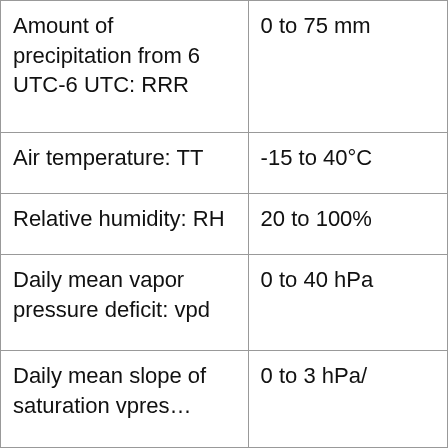| Parameter | Range |
| --- | --- |
| Amount of precipitation from 6 UTC-6 UTC: RRR | 0 to 75 mm |
| Air temperature: TT | -15 to 40°C |
| Relative humidity: RH | 20 to 100% |
| Daily mean vapor pressure deficit: vpd | 0 to 40 hPa |
| Daily mean slope of saturation vpres… | 0 to 3 hPa/… |